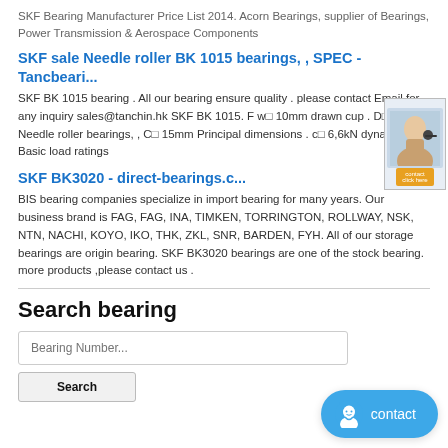SKF Bearing Manufacturer Price List 2014. Acorn Bearings, supplier of Bearings, Power Transmission & Aerospace Components
SKF sale Needle roller BK 1015 bearings, , SPEC -Tancbeari...
SKF BK 1015 bearing . All our bearing ensure quality . please contact Email for any inquiry sales@tanchin.hk SKF BK 1015. F w□ 10mm drawn cup . D□ 14m... Needle roller bearings, , C□ 15mm Principal dimensions . c□ 6,6kN dynami... Basic load ratings
SKF BK3020 - direct-bearings.c...
BIS bearing companies specialize in import bearing for many years. Our business brand is FAG, FAG, INA, TIMKEN, TORRINGTON, ROLLWAY, NSK, NTN, NACHI, KOYO, IKO, THK, ZKL, SNR, BARDEN, FYH. All of our storage bearings are origin bearing. SKF BK3020 bearings are one of the stock bearing. more products ,please contact us .
Search bearing
Bearing Number...
Search
contact